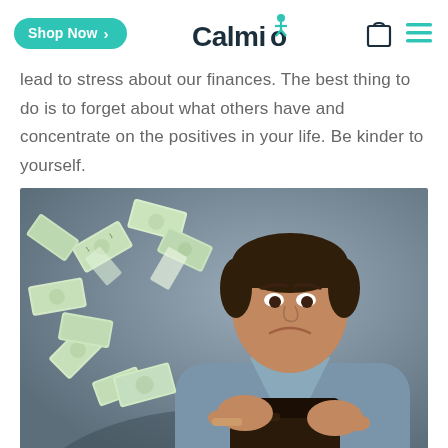Shop Now | Calmigo
lead to stress about our finances. The best thing to do is to forget about what others have and concentrate on the positives in your life. Be kinder to yourself.
[Figure (photo): A young man in a denim shirt looking sadly at an empty wallet with dollar bills flying away around him, against a grey background.]